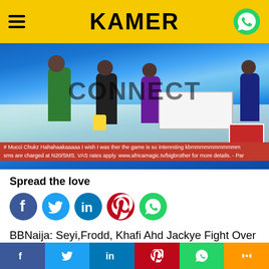KAMER
[Figure (screenshot): Screenshot of a TV broadcast showing people in the Big Brother Naija house with text overlay 'CONNECT' and a red ticker bar at the bottom with subscription information.]
Spread the love
[Figure (infographic): Row of social media share icons: Facebook (blue circle), Twitter (light blue circle), LinkedIn (dark blue circle), Pinterest (red circle), WhatsApp (green circle)]
BBNaija: Seyi,Frodd, Khafi Ahd Jackye Fight Over Alcohol.
What is the Pepper Dem House without some